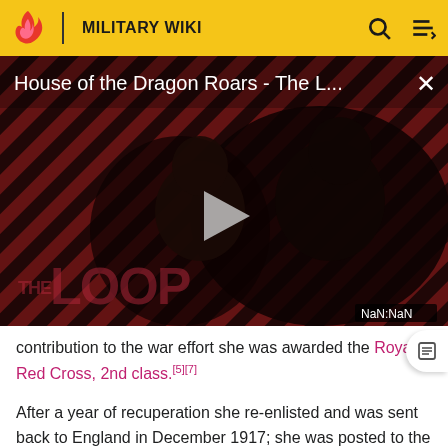MILITARY WIKI
[Figure (screenshot): Video thumbnail for 'House of the Dragon Roars - The L...' with a play button, diagonal striped background, two figures, THE LOOP text overlay, and NaN:NaN duration badge]
contribution to the war effort she was awarded the Royal Red Cross, 2nd class.[5][7]
After a year of recuperation she re-enlisted and was sent back to England in December 1917; she was posted to the No. 16 Canadian General Hospital.[1] In February 1918 she